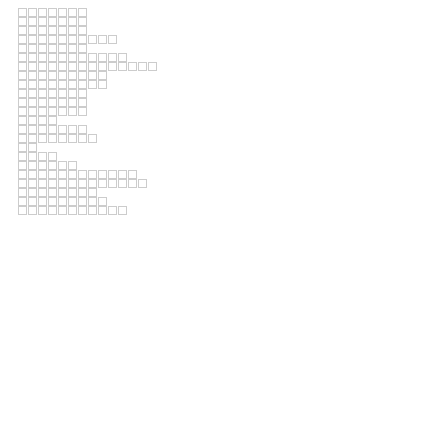▪▪▪▪▪▪▪
▪▪▪▪▪▪▪
▪▪▪▪▪▪▪
▪▪▪▪▪▪▪▪▪▪
▪▪▪▪▪▪▪
▪▪▪▪▪▪▪▪▪▪▪
▪▪▪▪▪▪▪▪▪▪▪▪▪▪
▪▪▪▪▪▪▪▪▪
▪▪▪▪▪▪▪▪▪
▪▪▪▪▪▪▪
▪▪▪▪▪▪▪
▪▪▪▪▪▪▪
▪▪▪▪
▪▪▪▪▪▪▪
▪▪▪▪▪▪▪▪
▪▪
▪▪▪▪
▪▪▪▪▪▪
▪▪▪▪▪▪▪▪▪▪▪▪
▪▪▪▪▪▪▪▪▪▪▪▪▪
▪▪▪▪▪▪▪▪
▪▪▪▪▪▪▪▪▪
▪▪▪▪▪▪▪▪▪▪▪